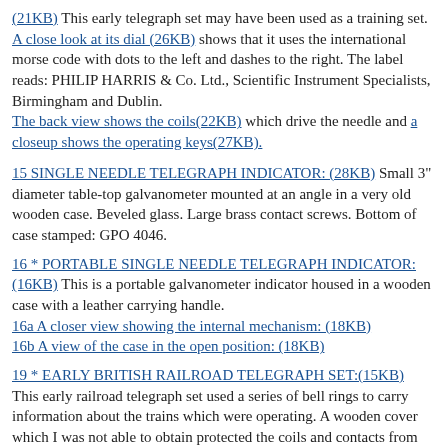(21KB) This early telegraph set may have been used as a training set. A close look at its dial (26KB) shows that it uses the international morse code with dots to the left and dashes to the right. The label reads: PHILIP HARRIS & Co. Ltd., Scientific Instrument Specialists, Birmingham and Dublin. The back view shows the coils(22KB) which drive the needle and a closeup shows the operating keys(27KB).
15 SINGLE NEEDLE TELEGRAPH INDICATOR: (28KB) Small 3" diameter table-top galvanometer mounted at an angle in a very old wooden case. Beveled glass. Large brass contact screws. Bottom of case stamped: GPO 4046.
16 * PORTABLE SINGLE NEEDLE TELEGRAPH INDICATOR: (16KB) This is a portable galvanometer indicator housed in a wooden case with a leather carrying handle. 16a A closer view showing the internal mechanism: (18KB) 16b A view of the case in the open position: (18KB)
19 * EARLY BRITISH RAILROAD TELEGRAPH SET:(15KB) This early railroad telegraph set used a series of bell rings to carry information about the trains which were operating. A wooden cover which I was not able to obtain protected the coils and contacts from dirt.
21 EARLY PORTABLE GALVANOMETER: * 3 1/4" di...